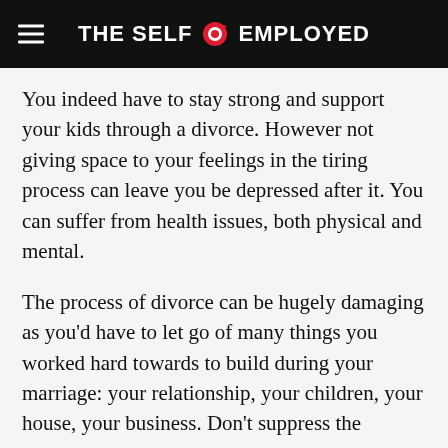THE SELF EMPLOYED
You indeed have to stay strong and support your kids through a divorce. However not giving space to your feelings in the tiring process can leave you be depressed after it. You can suffer from health issues, both physical and mental.
The process of divorce can be hugely damaging as you'd have to let go of many things you worked hard towards to build during your marriage: your relationship, your children, your house, your business. Don't suppress the
This website uses cookies.
[Figure (other): Social share buttons: Facebook, Twitter, Email, Pinterest, LinkedIn]